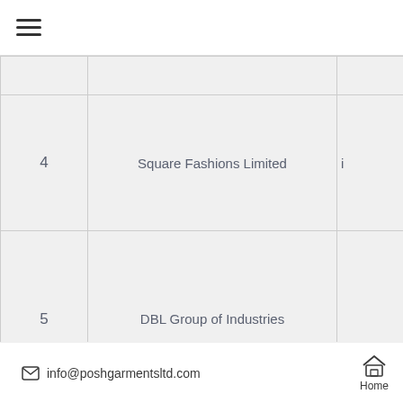≡ (hamburger menu)
| # | Name | Info |
| --- | --- | --- |
|  |  |  |
| 4 | Square Fashions Limited | i… |
| 5 | DBL Group of Industries |  |
| 6 | Opex Sinha Group | n… |
✉ info@poshgarmentsltd.com   Home